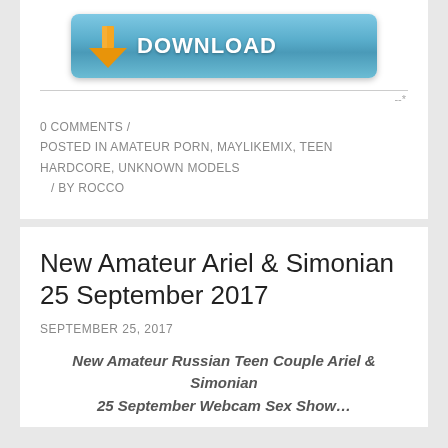[Figure (illustration): A blue rounded download button with an orange downward arrow icon and white bold text reading DOWNLOAD]
0 COMMENTS  /
POSTED IN AMATEUR PORN, MAYLIKEMIX, TEEN HARDCORE, UNKNOWN MODELS
   /  BY ROCCO
New Amateur Ariel & Simonian 25 September 2017
SEPTEMBER 25, 2017
New Amateur Russian Teen Couple Ariel & Simonian
25 September Webcam Sex Show…